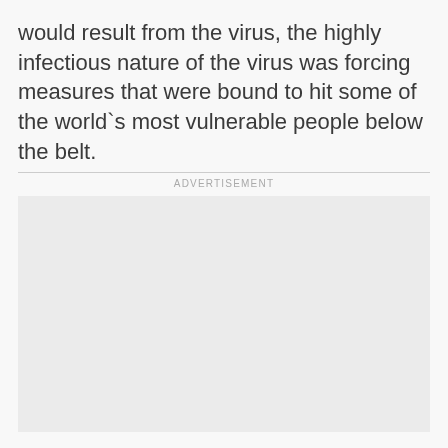would result from the virus, the highly infectious nature of the virus was forcing measures that were bound to hit some of the world`s most vulnerable people below the belt.
ADVERTISEMENT
[Figure (other): Advertisement placeholder box (empty grey rectangle)]